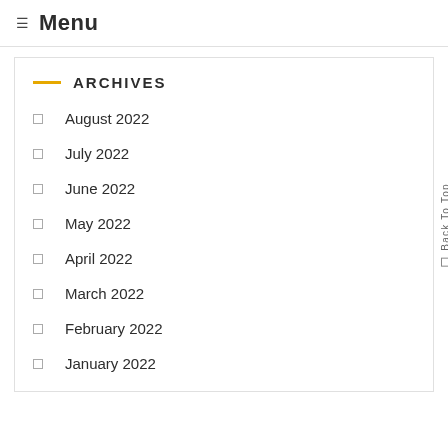☰ Menu
ARCHIVES
August 2022
July 2022
June 2022
May 2022
April 2022
March 2022
February 2022
January 2022